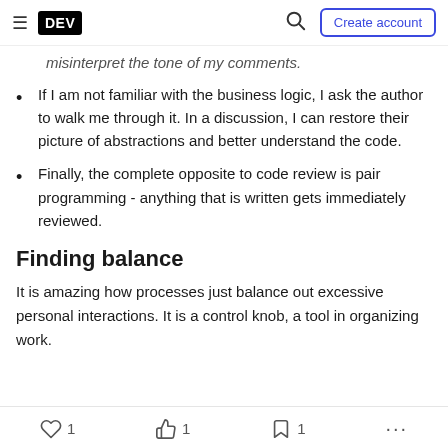DEV | Create account
misinterpret the tone of my comments.
If I am not familiar with the business logic, I ask the author to walk me through it. In a discussion, I can restore their picture of abstractions and better understand the code.
Finally, the complete opposite to code review is pair programming - anything that is written gets immediately reviewed.
Finding balance
It is amazing how processes just balance out excessive personal interactions. It is a control knob, a tool in organizing work.
1  1  1  ...